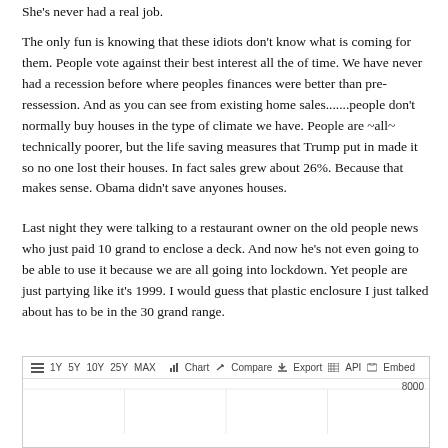She's never had a real job.
The only fun is knowing that these idiots don't know what is coming for them. People vote against their best interest all the of time. We have never had a recession before where peoples finances were better than pre-ressession. And as you can see from existing home sales.......people don't normally buy houses in the type of climate we have. People are ~all~ technically poorer, but the life saving measures that Trump put in made it so no one lost their houses. In fact sales grew about 26%. Because that makes sense. Obama didn't save anyones houses.
Last night they were talking to a restaurant owner on the old people news who just paid 10 grand to enclose a deck. And now he's not even going to be able to use it because we are all going into lockdown. Yet people are just partying like it's 1999. I would guess that plastic enclosure I just talked about has to be in the 30 grand range.
The world is just completely insane right now.
[Figure (screenshot): Financial chart toolbar with time range buttons (1Y, 5Y, 10Y, 25Y, MAX) and options (Chart, Compare, Export, API, Embed), with chart area showing 8000 label]